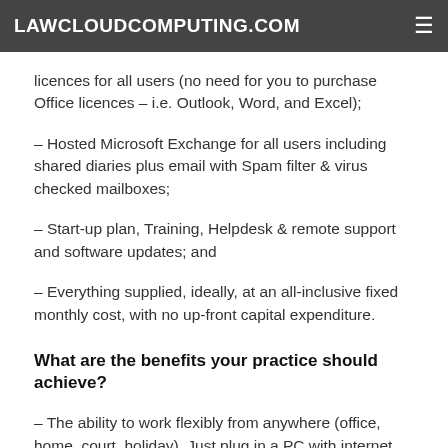LAWCLOUDCOMPUTING.COM
– licences for all users (no need for you to purchase Office licences – i.e. Outlook, Word, and Excel);
– Hosted Microsoft Exchange for all users including shared diaries plus email with Spam filter & virus checked mailboxes;
– Start-up plan, Training, Helpdesk & remote support and software updates; and
– Everything supplied, ideally, at an all-inclusive fixed monthly cost, with no up-front capital expenditure.
What are the benefits your practice should achieve?
– The ability to work flexibly from anywhere (office, home, court, holiday). Just plug in a PC with internet connection and go;